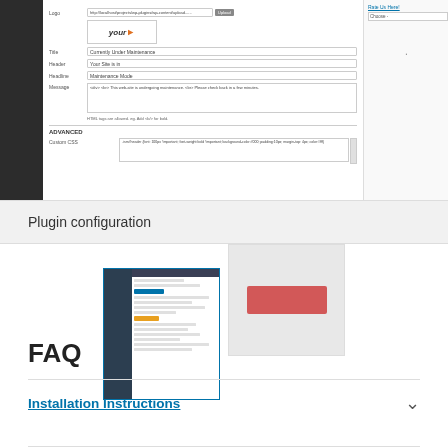[Figure (screenshot): WordPress plugin configuration settings page screenshot showing Logo, Title, Header, Headline, Message fields and Advanced section with Custom CSS. A right panel shows additional options.]
Plugin configuration
[Figure (screenshot): Two thumbnail screenshots: left showing a dark-sidebar WordPress admin plugin settings interface, right showing a red error/notice bar on a light background.]
FAQ
Installation Instructions